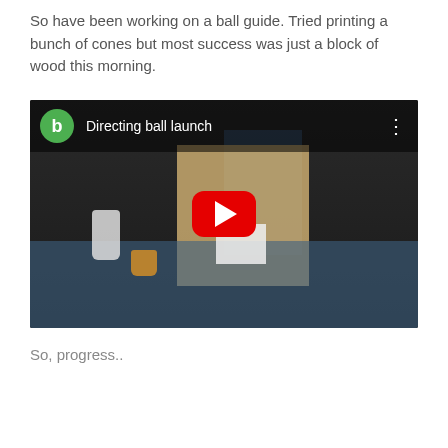So have been working on a ball guide. Tried printing a bunch of cones but most success was just a block of wood this morning.
[Figure (screenshot): YouTube video thumbnail showing 'Directing ball launch' with a green avatar icon with letter b, YouTube play button in red, and a workshop scene with wood panels, containers and equipment on a blue table surface.]
So, progress..